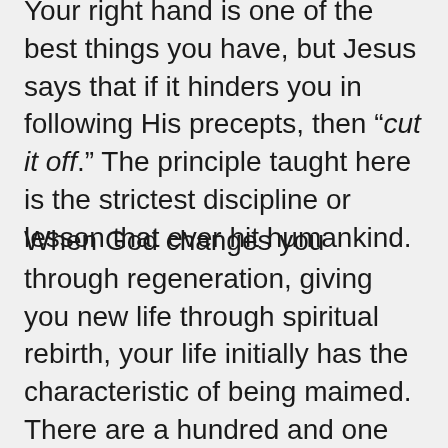Your right hand is one of the best things you have, but Jesus says that if it hinders you in following His precepts, then “cut it off.” The principle taught here is the strictest discipline or lesson that ever hit humankind.

When God changes you through regeneration, giving you new life through spiritual rebirth, your life initially has the characteristic of being maimed. There are a hundred and one things that you dare not do— things that would be sin for you, and would be recognized as sin by those who really know you. But the unspiritual people